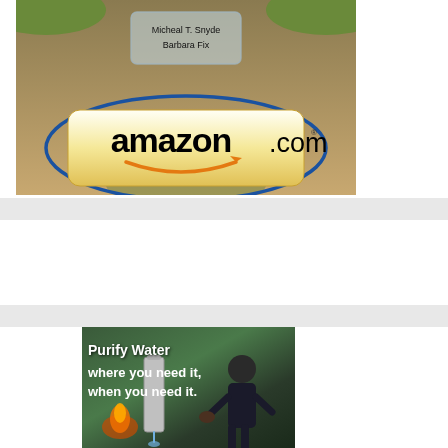[Figure (photo): Amazon.com advertisement showing a grave plaque with names 'Micheal T. Snyder' and 'Barbara Fix' on dirt ground with grass, and a large Amazon.com button logo encircled by a blue oval]
[Figure (photo): Advertisement showing outdoor water purification device with text 'Purify Water where you need it, when you need it.' with a person and flames in background]